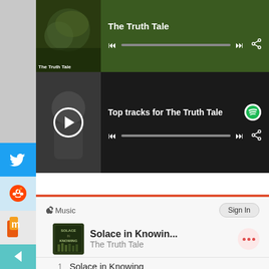[Figure (screenshot): Spotify-like music player for The Truth Tale, showing album art, track title, and playback controls on dark green background]
[Figure (screenshot): Spotify player showing 'Top tracks for The Truth Tale' with album art, play button, Spotify logo, and playback controls on dark background]
[Figure (screenshot): Apple Music widget showing 'Solace in Knowin...' by The Truth Tale with album art and Sign In button]
1   Solace in Knowing